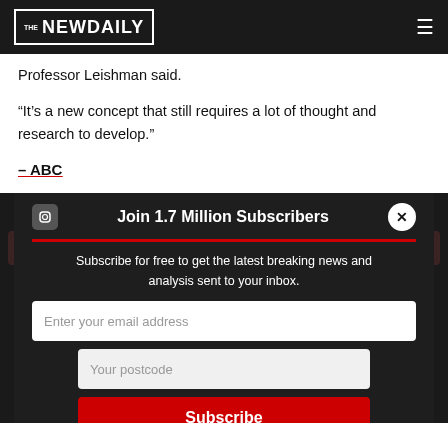THE NEW DAILY
Professor Leishman said.
“It’s a new concept that still requires a lot of thought and research to develop.”
– ABC
FOLLOW US
Join 1.7 Million Subscribers
Subscribe for free to get the latest breaking news and analysis sent to your inbox.
Enter your email address
Your postcode
Subscribe